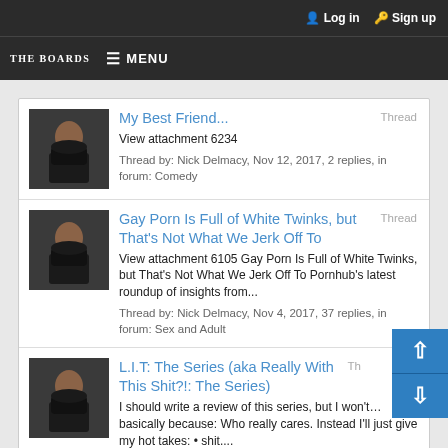Log in  Sign up
THE BOARDS  MENU
My Best Friend...  Thread  View attachment 6234  Thread by: Nick Delmacy, Nov 12, 2017, 2 replies, in forum: Comedy
Gay Porn Is Full of White Twinks, but That's Not What We Jerk Off To  Thread  View attachment 6105 Gay Porn Is Full of White Twinks, but That's Not What We Jerk Off To Pornhub's latest roundup of insights from...  Thread by: Nick Delmacy, Nov 4, 2017, 37 replies, in forum: Sex and Adult
L.I.T: The Series (aka Really With This Shit?!: The Series)  Thread  I should write a review of this series, but I won't…basically because: Who really cares. Instead I'll just give my hot takes: • shit....  Thread by: Nick Delmacy, Jun 15, 2017, 14 replies, in forum: